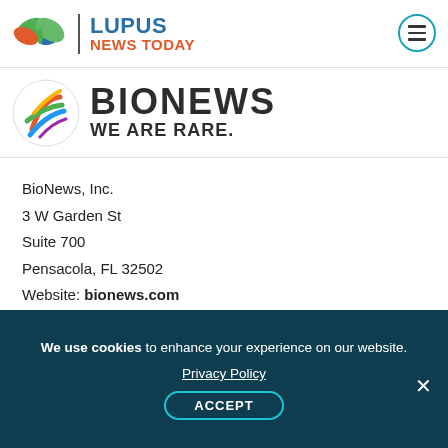Lupus News Today
[Figure (logo): BioNews logo with colorful DNA helix circle and text BIONEWS WE ARE RARE.]
BioNews, Inc.
3 W Garden St
Suite 700
Pensacola, FL 32502
Website: bionews.com
Email: info@bionews.com
Phone: 1-800-936-1363
We use cookies to enhance your experience on our website. Privacy Policy ACCEPT